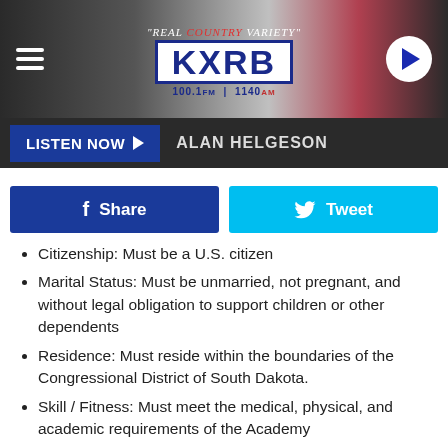KXRB 100.1 FM | 1140 AM - "REAL COUNTRY VARIETY" - LISTEN NOW - ALAN HELGESON
Share   Tweet
Citizenship: Must be a U.S. citizen
Marital Status: Must be unmarried, not pregnant, and without legal obligation to support children or other dependents
Residence: Must reside within the boundaries of the Congressional District of South Dakota.
Skill / Fitness: Must meet the medical, physical, and academic requirements of the Academy
Congratulations to these six students:
[Figure (photo): Photo of a person outdoors with green foliage background]